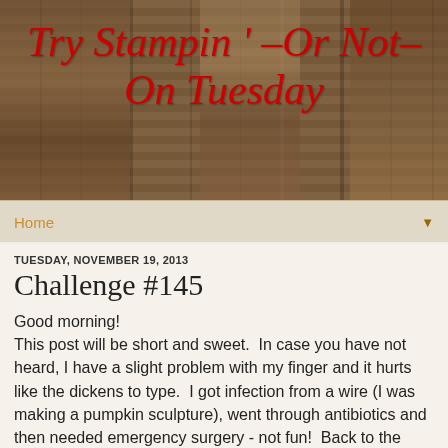[Figure (illustration): Wood plank texture background header image with red italic cursive title text 'Try Stampin' -Or Not- On Tuesday']
Try Stampin' –Or Not– On Tuesday
Home ▼
TUESDAY, NOVEMBER 19, 2013
Challenge #145
Good morning!
This post will be short and sweet.  In case you have not heard, I have a slight problem with my finger and it hurts like the dickens to type.  I got infection from a wire (I was making a pumpkin sculpture), went through antibiotics and then needed emergency surgery - not fun!  Back to the surgeon tomorrow.